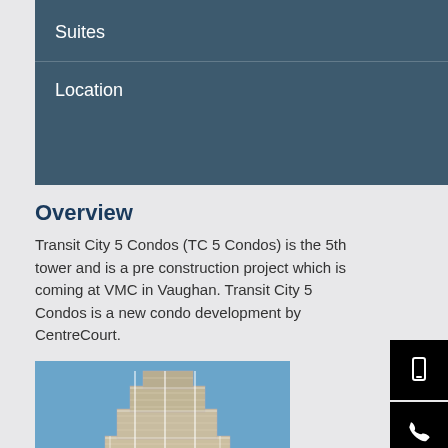Suites
Location
Overview
Transit City 5 Condos (TC 5 Condos) is the 5th tower and is a pre construction project which is coming at VMC in Vaughan. Transit City 5 Condos is a new condo development by CentreCourt.
[Figure (photo): Exterior rendering of Transit City 5 Condos tower building with stepped balconies against blue sky]